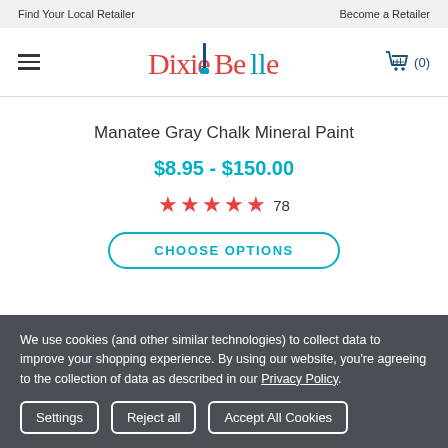Find Your Local Retailer    Become a Retailer
[Figure (logo): Dixie Belle Paint Company logo in red and teal script with hamburger menu and shopping cart icon showing (0) items]
Manatee Gray Chalk Mineral Paint
$8.95 - $150.00
★★★★★ 78
CHOOSE OPTIONS
We use cookies (and other similar technologies) to collect data to improve your shopping experience. By using our website, you're agreeing to the collection of data as described in our Privacy Policy.
Settings    Reject all    Accept All Cookies